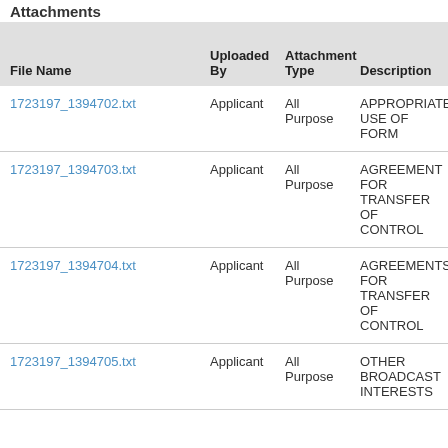Attachments
| File Name | Uploaded By | Attachment Type | Description |
| --- | --- | --- | --- |
| 1723197_1394702.txt | Applicant | All Purpose | APPROPRIATE USE OF FORM |
| 1723197_1394703.txt | Applicant | All Purpose | AGREEMENT FOR TRANSFER OF CONTROL |
| 1723197_1394704.txt | Applicant | All Purpose | AGREEMENTS FOR TRANSFER OF CONTROL |
| 1723197_1394705.txt | Applicant | All Purpose | OTHER BROADCAST INTERESTS |